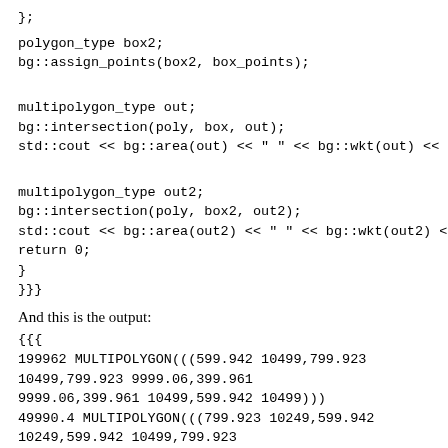};
polygon_type box2;
bg::assign_points(box2, box_points);
multipolygon_type out;
bg::intersection(poly, box, out);
std::cout << bg::area(out) << " " << bg::wkt(out) << std::endl;
multipolygon_type out2;
bg::intersection(poly, box2, out2);
std::cout << bg::area(out2) << " " << bg::wkt(out2) << std::endl;
return 0;
}
}}}
And this is the output:
{{{
199962 MULTIPOLYGON(((599.942 10499,799.923
10499,799.923 9999.06,399.961
9999.06,399.961 10499,599.942 10499)))
49990.4 MULTIPOLYGON(((799.923 10249,599.942
10249,599.942 10499,799.923
10499,799.923 10249)))
}}}
Is this expected?